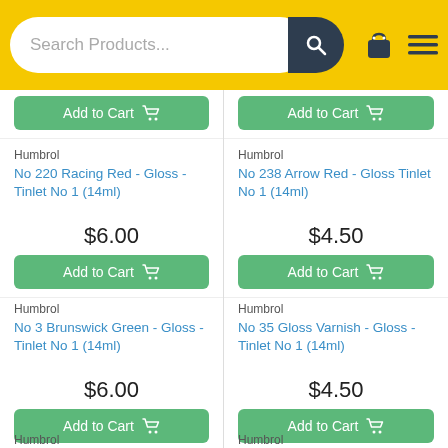Search Products...
Add to Cart (top partial row, two buttons)
Humbrol
No 220 Racing Red - Gloss - Tinlet No 1 (14ml)
$6.00
Add to Cart
Humbrol
No 238 Arrow Red - Gloss Tinlet No 1 (14ml)
$4.50
Add to Cart
Humbrol
No 3 Brunswick Green - Gloss - Tinlet No 1 (14ml)
$6.00
Add to Cart
Humbrol
No 35 Gloss Varnish - Gloss - Tinlet No 1 (14ml)
$4.50
Add to Cart
Humbrol
Humbrol